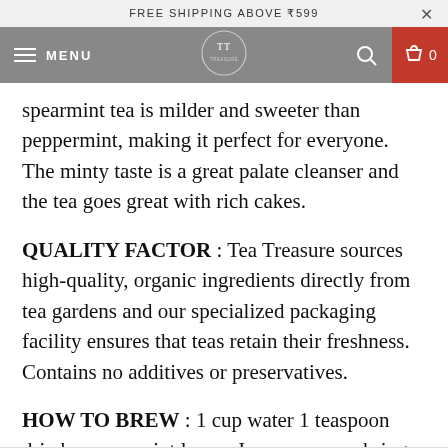FREE SHIPPING ABOVE ₹599
[Figure (screenshot): Website navigation bar with hamburger menu, MENU text, Tea Treasure logo (TT in circle), search icon, and red cart icon showing 0 items]
spearmint tea is milder and sweeter than peppermint, making it perfect for everyone. The minty taste is a great palate cleanser and the tea goes great with rich cakes.
QUALITY FACTOR : Tea Treasure sources high-quality, organic ingredients directly from tea gardens and our specialized packaging facility ensures that teas retain their freshness. Contains no additives or preservatives.
HOW TO BREW : 1 cup water 1 teaspoon dried spearmint leaves In a saucepan, bring water to a boil. Remove from the heat. Add spearmint leaves and let stand 5 minutes. Strain tea into a teacup and enjoy.
[Figure (illustration): Floating dark circular button with shopping bag and heart icon]